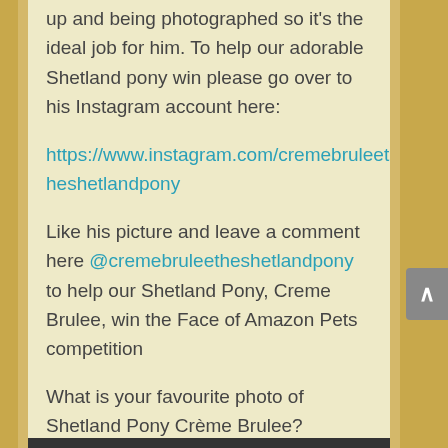up and being photographed so it's the ideal job for him. To help our adorable Shetland pony win please go over to his Instagram account here:
https://www.instagram.com/cremebruleetheshetlandpony
Like his picture and leave a comment here @cremebruleetheshetlandpony to help our Shetland Pony, Creme Brulee, win the Face of Amazon Pets competition
What is your favourite photo of Shetland Pony Crème Brulee?
Watch the video to find out more: